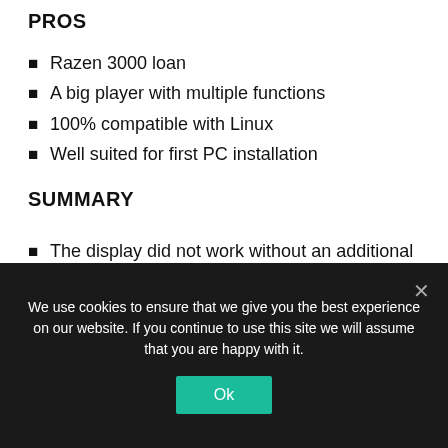PROS
Razen 3000 loan
A big player with multiple functions
100% compatible with Linux
Well suited for first PC installation
SUMMARY
The display did not work without an additional graphics card.
Disappointingly expensive results
First a good product and quality, then a
We use cookies to ensure that we give you the best experience on our website. If you continue to use this site we will assume that you are happy with it.